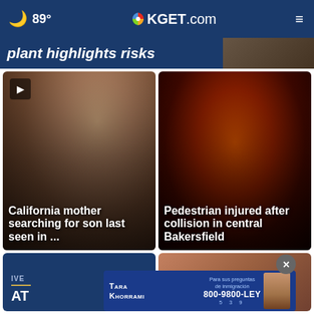🌙 89° KGET.com
plant highlights risks
[Figure (photo): Two people posing closely together, a young man and a woman outdoors]
California mother searching for son last seen in ...
[Figure (photo): Nighttime street scene with orange/red glow and traffic lights]
Pedestrian injured after collision in central Bakersfield
[Figure (screenshot): Blue card with IVE and AT text overlay]
[Figure (photo): Person portrait in warm tones]
Tara Khorrami — Para sus preguntas de inmigración 800-9800-LEY 5 3 9